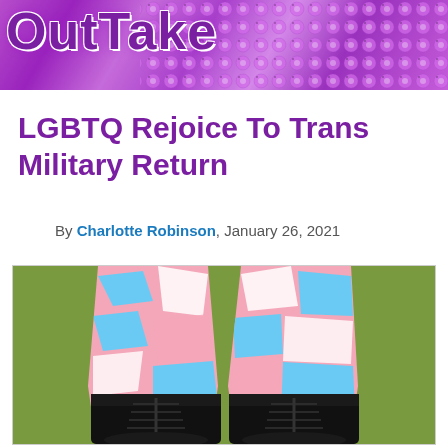OutTake
LGBTQ Rejoice To Trans Military Return
By Charlotte Robinson, January 26, 2021
[Figure (illustration): Illustration of military boots with trans flag colored camouflage pants (pink, light blue, white pattern) on a green background]